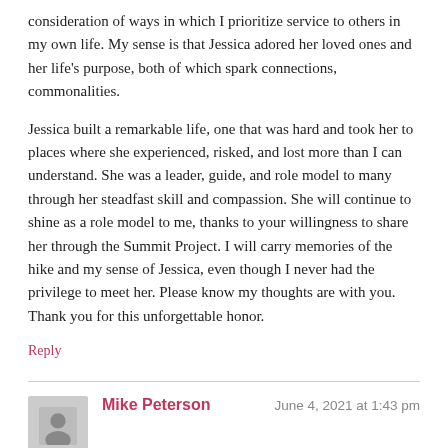consideration of ways in which I prioritize service to others in my own life. My sense is that Jessica adored her loved ones and her life's purpose, both of which spark connections, commonalities.
Jessica built a remarkable life, one that was hard and took her to places where she experienced, risked, and lost more than I can understand. She was a leader, guide, and role model to many through her steadfast skill and compassion. She will continue to shine as a role model to me, thanks to your willingness to share her through the Summit Project. I will carry memories of the hike and my sense of Jessica, even though I never had the privilege to meet her. Please know my thoughts are with you. Thank you for this unforgettable honor.
Reply
Mike Peterson
June 4, 2021 at 1:43 pm
Jessica's family and friends,
There are no coincidences!